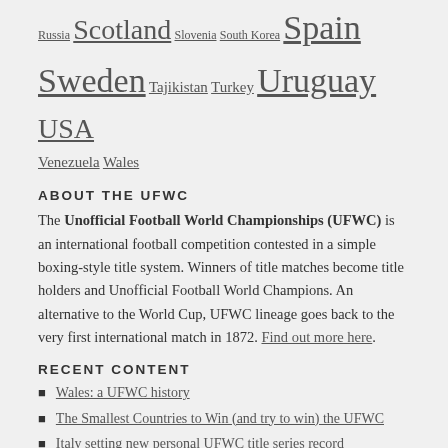Russia Scotland Slovenia South Korea Spain Sweden Tajikistan Turkey Uruguay USA Venezuela Wales
ABOUT THE UFWC
The Unofficial Football World Championships (UFWC) is an international football competition contested in a simple boxing-style title system. Winners of title matches become title holders and Unofficial Football World Champions. An alternative to the World Cup, UFWC lineage goes back to the very first international match in 1872. Find out more here.
RECENT CONTENT
Wales: a UFWC history
The Smallest Countries to Win (and try to win) the UFWC
Italy setting new personal UFWC title series record
Waiting game – the longest fixture gaps in UFWC history (updated)